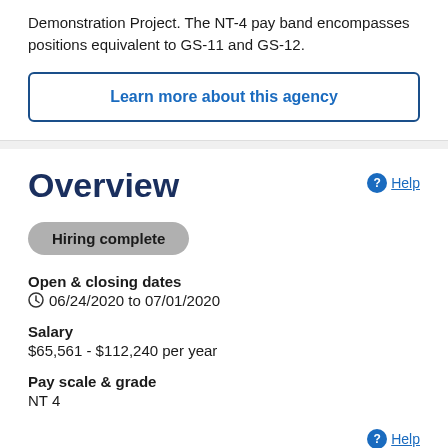Demonstration Project. The NT-4 pay band encompasses positions equivalent to GS-11 and GS-12.
Learn more about this agency
Overview
Hiring complete
Open & closing dates
06/24/2020 to 07/01/2020
Salary
$65,561 - $112,240 per year
Pay scale & grade
NT 4
Help